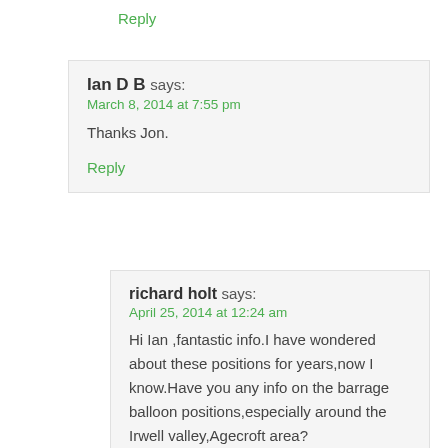Reply
Ian D B says:
March 8, 2014 at 7:55 pm
Thanks Jon.
Reply
richard holt says:
April 25, 2014 at 12:24 am
Hi Ian ,fantastic info.I have wondered about these positions for years,now I know.Have you any info on the barrage balloon positions,especially around the Irwell valley,Agecroft area?
For a great photo of Bank lane Heavy AA battery go to “Britain from above”and search